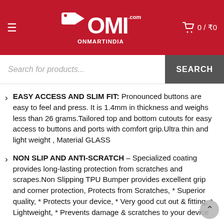[Figure (logo): OMI.com ONMARTINDIA logo on red header background with hamburger menu and cart icon showing 0 / ₹0]
Search for products...
EASY ACCESS AND SLIM FIT: Pronounced buttons are easy to feel and press. It is 1.4mm in thickness and weighs less than 26 grams.Tailored top and bottom cutouts for easy access to buttons and ports with comfort grip.Ultra thin and light weight , Material GLASS
NON SLIP AND ANTI-SCRATCH – Specialized coating provides long-lasting protection from scratches and scrapes.Non Slipping TPU Bumper provides excellent grip and corner protection, Protects from Scratches, * Superior quality, * Protects your device, * Very good cut out & fitting, * Lightweight, * Prevents damage & scratches to your device
Good LOOK AND PERFECT CUT OUTS – Exposed buttons and port openings for quick and easy access to Camera, Access to Audio Ports and charging ports,adds a...